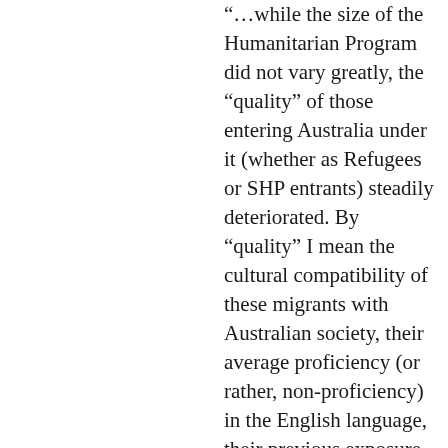…while the size of the Humanitarian Program did not vary greatly, the “quality” of those entering Australia under it (whether as Refugees or SHP entrants) steadily deteriorated. By “quality” I mean the cultural compatibility of these migrants with Australian society, their average proficiency (or rather, non-proficiency) in the English language, their previous exposure to community violence and hence their hardened attitudes to violence generally, and their only too often dubious